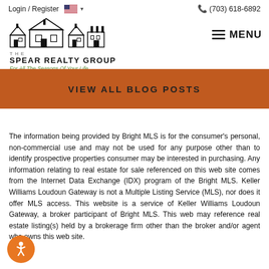Login / Register  🇺🇸 ▾     (703) 618-6892  THE SPEAR REALTY GROUP  For All The Seasons Of Your Life   MENU
[Figure (logo): The Spear Realty Group logo with house silhouette illustration and tagline 'For All The Seasons Of Your Life']
VIEW ALL BLOG POSTS
The information being provided by Bright MLS is for the consumer's personal, non-commercial use and may not be used for any purpose other than to identify prospective properties consumer may be interested in purchasing. Any information relating to real estate for sale referenced on this web site comes from the Internet Data Exchange (IDX) program of the Bright MLS. Keller Williams Loudoun Gateway is not a Multiple Listing Service (MLS), nor does it offer MLS access. This website is a service of Keller Williams Loudoun Gateway, a broker participant of Bright MLS. This web may reference real estate listing(s) held by a brokerage firm other than the broker and/or agent who owns this web site.